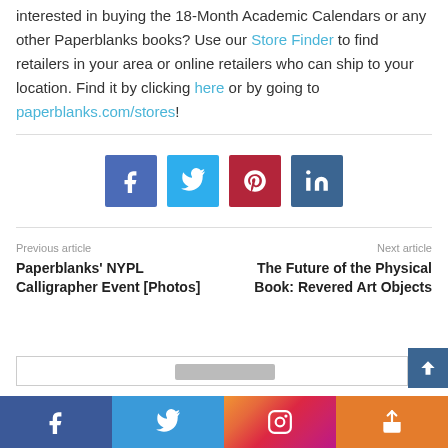interested in buying the 18-Month Academic Calendars or any other Paperblanks books? Use our Store Finder to find retailers in your area or online retailers who can ship to your location. Find it by clicking here or by going to paperblanks.com/stores!
[Figure (infographic): Social media share buttons: Facebook (purple-blue), Twitter (light blue), Pinterest (dark red), LinkedIn (dark blue)]
Previous article
Paperblanks' NYPL Calligrapher Event [Photos]
Next article
The Future of the Physical Book: Revered Art Objects
[Figure (infographic): Bottom navigation bar with Facebook, Twitter, Instagram, and share icons]